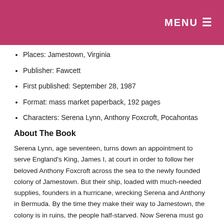MENU ☰
Places: Jamestown, Virginia
Publisher: Fawcett
First published: September 28, 1987
Format: mass market paperback, 192 pages
Characters: Serena Lynn, Anthony Foxcroft, Pocahontas
About The Book
Serena Lynn, age seventeen, turns down an appointment to serve England's King, James I, at court in order to follow her beloved Anthony Foxcroft across the sea to the newly founded colony of Jamestown. But their ship, loaded with much-needed supplies, founders in a hurricane, wrecking Serena and Anthony in Bermuda. By the time they make their way to Jamestown, the colony is in ruins, the people half-starved. Now Serena must go to the Indian princess Pocahontas to plead for the life of the colony — and of the man she loves!
EPUB ebook The Serpent Never Sleeps buy on Walmart. PDF The